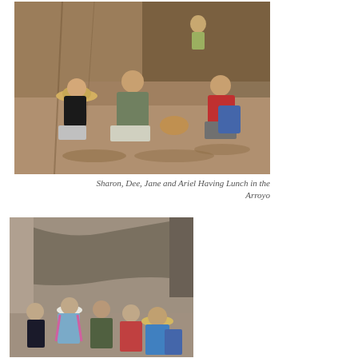[Figure (photo): Four people (Sharon, Dee, Jane and Ariel) sitting and resting on rocky terrain in an arroyo canyon, with a small dog visible among them. Rocky red/tan cliff walls in background, one person visible higher up in background.]
Sharon, Dee, Jane and Ariel Having Lunch in the Arroyo
[Figure (photo): Group of five women posing together inside a narrow canyon slot or cave-like rock formation. They are smiling at the camera, wearing casual outdoor/hiking clothing. Sandy tan rock walls surround them.]